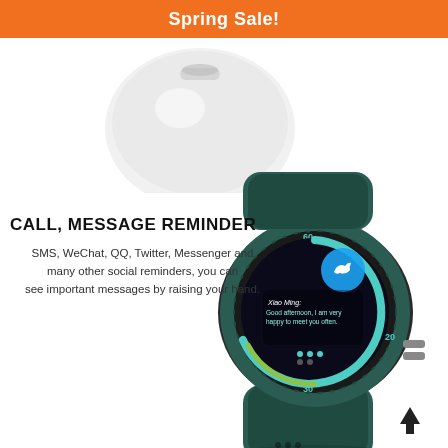Spring Sale!
[Figure (photo): White wireless earbuds/case product photo, partially visible at top center]
[Figure (photo): Green/teal smartwatch showing Twitter/social media message notification on screen, with teal silicone strap]
CALL, MESSAGE REMINDER
SMS, WeChat, QQ, Twitter, Messenger and many other social reminders, you can see important messages by raising your hand.
[Figure (illustration): Upward pointing arrow icon]